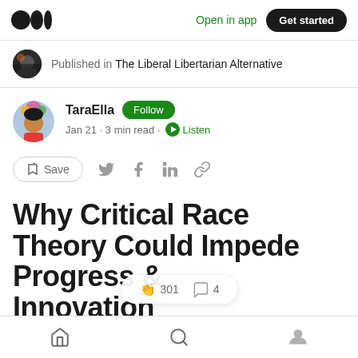Open in app  Get started
Published in The Liberal Libertarian Alternative
TaraElla  Follow  Jan 21 · 3 min read · Listen
Save
Why Critical Race Theory Could Impede Progress & Innovation
Home  Search  Profile